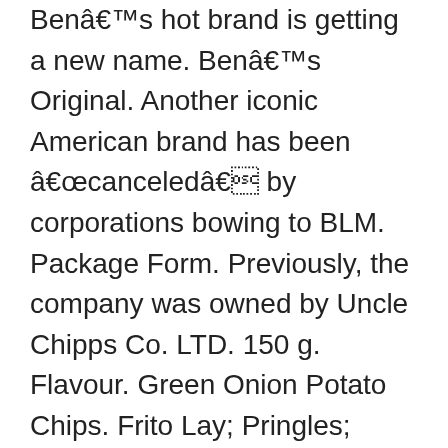Benâs hot brand is getting a new name. Benâs Original. Another iconic American brand has been âcanceledâ by corporations bowing to BLM. Package Form. Previously, the company was owned by Uncle Chipps Co. LTD. 150 g. Flavour. Green Onion Potato Chips. Frito Lay; Pringles; Kettle Brand; Lay's; Ruffles; 365 by Whole Foods Market; popchips; See more. If you love the clean, spicy bite of jalapeño peppers, these Kettle Brand, jalapeño-flavored chips with a kick will be your new go-to snack. Container Size. Form. Check out menus, reviews, and on-time delivery ratings. Roasted Garlic Potato Chips . Organic Foods. Brand. Calories Per Serving. Some of the grocery items and offers are available in selected cities only.